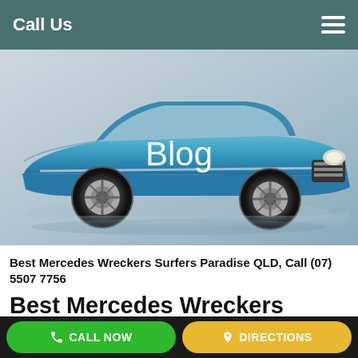Call Us
[Figure (photo): Classic 1950s blue convertible car on a light grey reflective background with 'Blog' text overlay in white]
Blog
Best Mercedes Wreckers Surfers Paradise QLD, Call (07) 5507 7756
Best Mercedes Wreckers Surfers Paradise QLD, Call
CALL NOW   DIRECTIONS